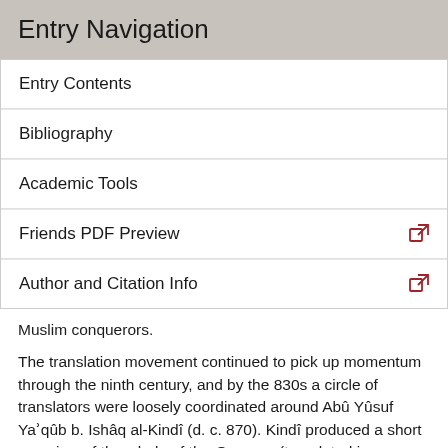Entry Navigation
Entry Contents
Bibliography
Academic Tools
Friends PDF Preview
Author and Citation Info
Muslim conquerors.
The translation movement continued to pick up momentum through the ninth century, and by the 830s a circle of translators were loosely coordinated around Abû Yûsuf Yaʾqûb b. Ishâq al-Kindî (d. c. 870). Kindî produced a short overview of the whole of the Organon (translated in Rescher 1963a), and members of his circle produced: an epitome of and commentary on the Categories; an epitome of On Interpretation; a version of the Sophistical Fallacies; and probably an early translation of the Rhetoric.[3]